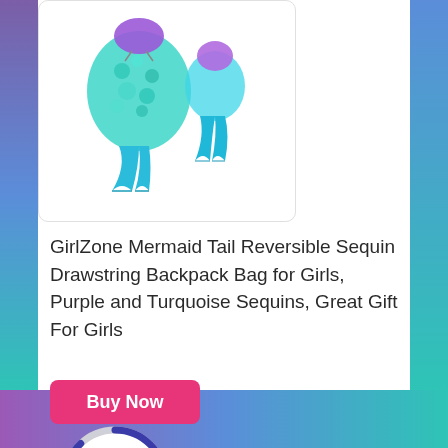[Figure (photo): Product image of GirlZone Mermaid Tail Reversible Sequin Drawstring Backpack showing two turquoise/teal mermaid tail shaped bags with one having purple sequins on top]
GirlZone Mermaid Tail Reversible Sequin Drawstring Backpack Bag for Girls, Purple and Turquoise Sequins, Great Gift For Girls
[Figure (infographic): Pink 'Buy Now' button with a circular score badge showing 8.8 in pink text on white background with dark blue/purple arc border]